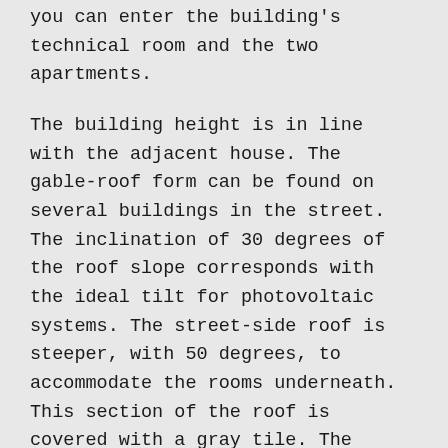you can enter the building's technical room and the two apartments.
The building height is in line with the adjacent house. The gable-roof form can be found on several buildings in the street. The inclination of 30 degrees of the roof slope corresponds with the ideal tilt for photovoltaic systems. The street-side roof is steeper, with 50 degrees, to accommodate the rooms underneath. This section of the roof is covered with a gray tile. The facade is horizontally structured with standing window formats. The street facade is plastered on the upper floors with a metal facade on the ground floor. With regard to color